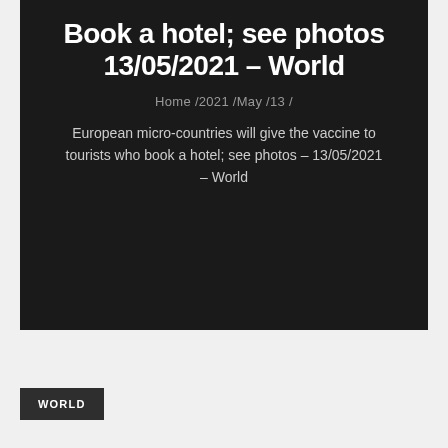Book a hotel; see photos 13/05/2021 – World
Home /2021 /May /13 /
European micro-countries will give the vaccine to tourists who book a hotel; see photos – 13/05/2021 – World
WORLD